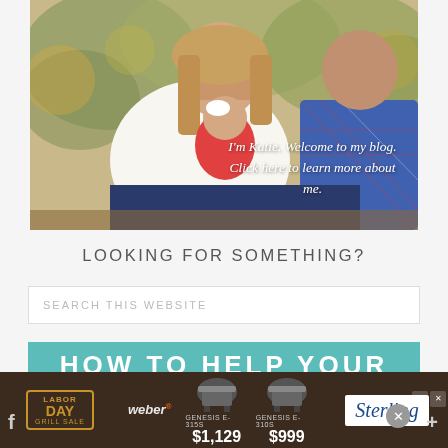[Figure (photo): Family photo showing a woman in white blouse holding a baby in red outfit with a white bow headband, and a man in blue plaid shirt leaning in. Outdoor setting with bokeh background. Text overlay reads: I'm Katie. Welcome to my blog. Click here to learn more about me.]
LOOKING FOR SOMETHING?
SEARCH THIS WEBSITE
[Figure (infographic): Partial teal/turquoise banner with large bold white text starting with HOW TO HELP YOUR (cut off at bottom)]
[Figure (infographic): Advertisement banner: Weber Labor Day Grill Sale. Shows two grills - Genesis E-315S at $1,129 and Genesis E-310S at $999. Sterling logo on right side.]